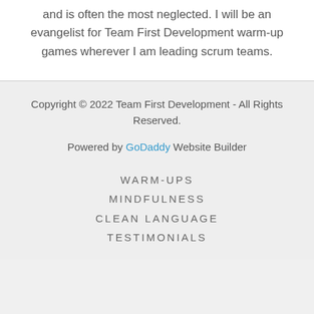and is often the most neglected. I will be an evangelist for Team First Development warm-up games wherever I am leading scrum teams.
Copyright © 2022 Team First Development - All Rights Reserved.
Powered by GoDaddy Website Builder
WARM-UPS
MINDFULNESS
CLEAN LANGUAGE
TESTIMONIALS